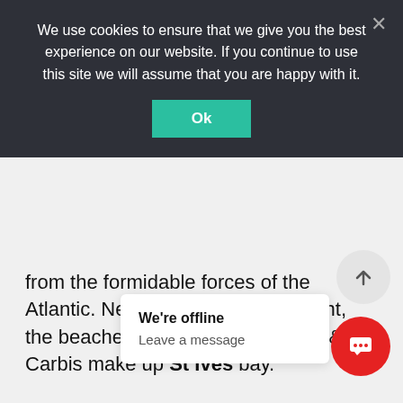We use cookies to ensure that we give you the best experience on our website. If you continue to use this site we will assume that you are happy with it.
Ok
from the formidable forces of the Atlantic. Nestled within this crescent, the beaches of Gwithian, Godrevy & Carbis make up St Ives bay.
If it's good looks you're after, St Ives bay has it all. This three-mile stretch of sand features an extensive dune system, a pristine backdrop... Embark fr... discover the captivating coastline
We're offline
Leave a message